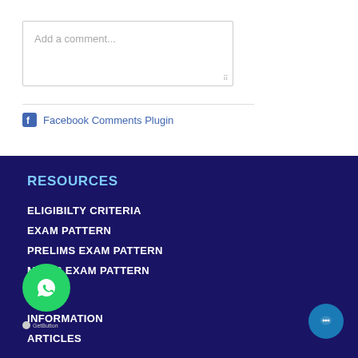[Figure (screenshot): Comment input textarea with placeholder text 'Add a comment...' and a resize handle at bottom-right]
[Figure (screenshot): Facebook Comments Plugin link with Facebook icon]
RESOURCES
ELIGIBILTY CRITERIA
EXAM PATTERN
PRELIMS EXAM PATTERN
MAINS EXAM PATTERN
S
INFORMATION
ARTICLES
[Figure (logo): WhatsApp green circle button with WhatsApp logo]
[Figure (logo): GetButton branding label]
[Figure (logo): Blue circle chat button at bottom right]